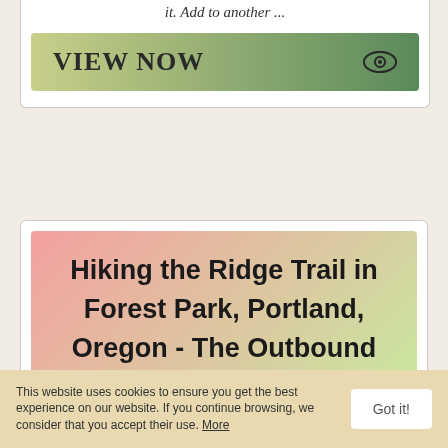it. Add to another ...
[Figure (screenshot): VIEW NOW button with gradient background from yellow-green to dark green, with an eye icon on the right]
Hiking the Ridge Trail in Forest Park, Portland, Oregon - The Outbound
Know for. Hiking. Dog Friendly. Easy Parking. Family Friendly. Food Nearby. Forest. Scenic ... There's not enough city hikes in Portland so this
This website uses cookies to ensure you get the best experience on our website. If you continue browsing, we consider that you accept their use. More
Got it!